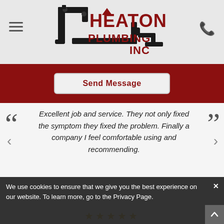[Figure (logo): Heaton Plumbing Inc logo with pipe graphic and red/black text]
Send Message
Excellent job and service. They not only fixed the symptom they fixed the problem. Finally a company I feel comfortable using and recommending.
We use cookies to ensure that we give you the best experience on our website. To learn more, go to the Privacy Page.